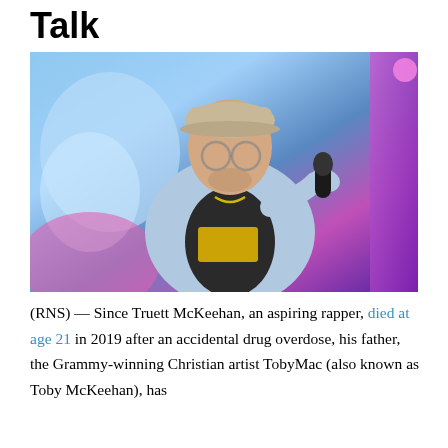Talk
[Figure (photo): A man wearing a light blue denim jacket, a cap, and glasses, singing into a microphone on stage with colorful blue and purple stage lighting in the background.]
(RNS) — Since Truett McKeehan, an aspiring rapper, died at age 21 in 2019 after an accidental drug overdose, his father, the Grammy-winning Christian artist TobyMac (also known as Toby McKeehan), has